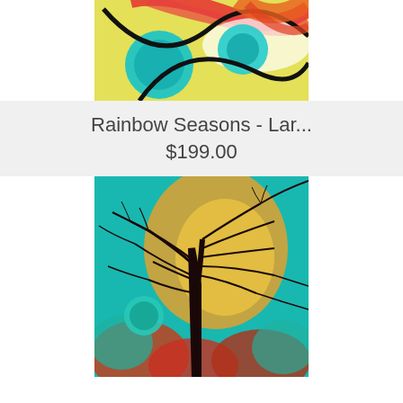[Figure (illustration): Colorful abstract painting with swirling circular shapes in teal, red, orange, yellow and black against a bright background]
Rainbow Seasons - Lar...
$199.00
[Figure (illustration): Digital art painting of a bare silhouette tree against a vivid teal, orange and golden sky with a teal moon visible on the left side]